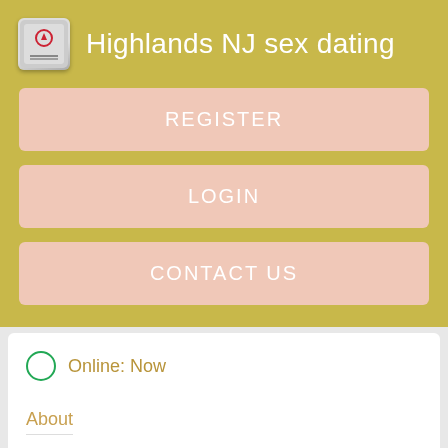Highlands NJ sex dating
REGISTER
LOGIN
CONTACT US
Online: Now
About
A couple looking for a woman to in!. Hyannis MA wife